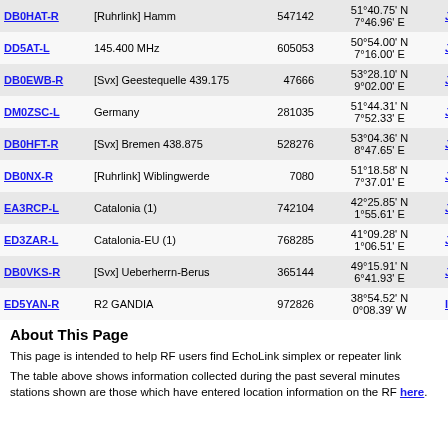| Callsign | Description | ID | Coordinates | Grid | Last |
| --- | --- | --- | --- | --- | --- |
| DB0HAT-R | [Ruhrlink] Hamm | 547142 | 51°40.75' N 7°46.96' E | JO31wq | 362 |
| DD5AT-L | 145.400 MHz | 605053 | 50°54.00' N 7°16.00' E | JO30pv | 362 |
| DB0EWB-R | [Svx] Geestequelle 439.175 | 47666 | 53°28.10' N 9°02.00' E | JO43ml | 362 |
| DM0ZSC-L | Germany | 281035 | 51°44.31' N 7°52.33' E | JO31wr | 362 |
| DB0HFT-R | [Svx] Bremen 438.875 | 528276 | 53°04.36' N 8°47.65' E | JO43jb | 363 |
| DB0NX-R | [Ruhrlink] Wiblingwerde | 7080 | 51°18.58' N 7°37.01' E | JO31th | 363 |
| EA3RCP-L | Catalonia (1) | 742104 | 42°25.85' N 1°55.61' E | JN02xk | 363 |
| ED3ZAR-L | Catalonia-EU (1) | 768285 | 41°09.28' N 1°06.51' E | JN01nd | 363 |
| DB0VKS-R | [Svx] Ueberherrn-Berus | 365144 | 49°15.91' N 6°41.93' E | JN39ig | 364 |
| ED5YAN-R | R2 GANDIA | 972826 | 38°54.52' N 0°08.39' W | IM98wv | 364 |
About This Page
This page is intended to help RF users find EchoLink simplex or repeater link
The table above shows information collected during the past several minutes stations shown are those which have entered location information on the RF here.